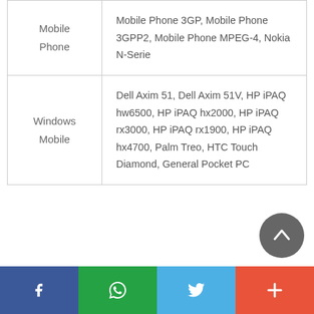| Category | Items |
| --- | --- |
| Mobile Phone | Mobile Phone 3GP, Mobile Phone 3GPP2, Mobile Phone MPEG-4, Nokia N-Serie |
| Windows Mobile | Dell Axim 51, Dell Axim 51V, HP iPAQ hw6500, HP iPAQ hx2000, HP iPAQ rx3000, HP iPAQ rx1900, HP iPAQ hx4700, Palm Treo, HTC Touch Diamond, General Pocket PC |